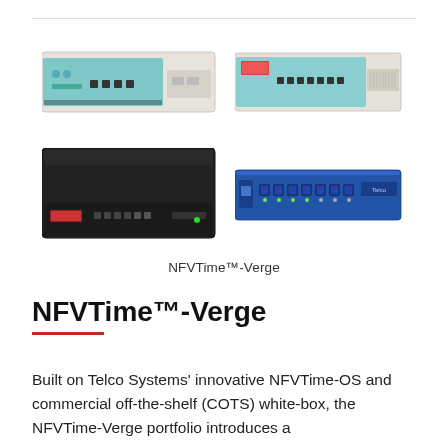[Figure (photo): Four network hardware appliances arranged in a 2x2 grid. Top-left: a 1U rack unit with white/beige chassis and blue front panel with ports. Top-right: a similar white/beige 1U box with blue front panel and various ports. Bottom-left: a flat black desktop appliance with red label and various ports. Bottom-right: a blue 1U rack unit with multiple Ethernet ports on the front panel.]
NFVTime™-Verge
NFVTime™-Verge
Built on Telco Systems' innovative NFVTime-OS and commercial off-the-shelf (COTS) white-box, the NFVTime-Verge portfolio introduces a